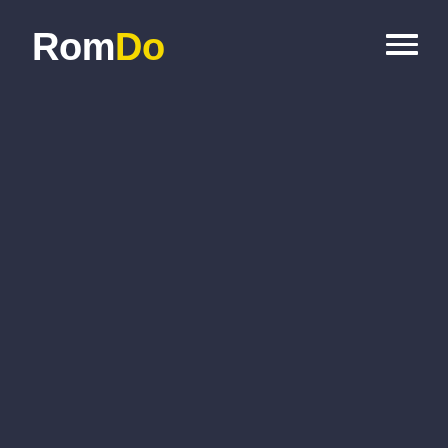[Figure (logo): RomDo logo with 'Rom' in white and 'Do' in yellow, bold sans-serif font]
[Figure (other): Hamburger menu icon — three white horizontal lines stacked vertically, top-right corner]